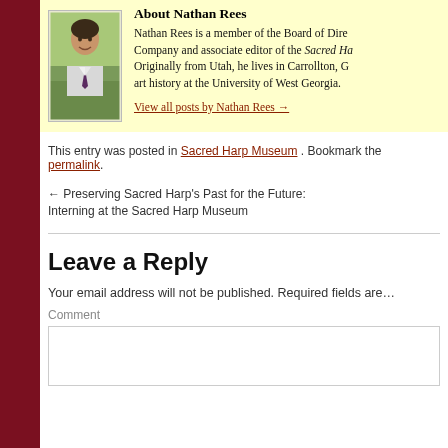About Nathan Rees
Nathan Rees is a member of the Board of Directors of the Sacred Harp Publishing Company and associate editor of the Sacred Harp Musical Heritage Association. Originally from Utah, he lives in Carrollton, Georgia, where he teaches art history at the University of West Georgia.
View all posts by Nathan Rees →
This entry was posted in Sacred Harp Museum . Bookmark the permalink .
← Preserving Sacred Harp's Past for the Future: Interning at the Sacred Harp Museum
I Rememb…
Leave a Reply
Your email address will not be published. Required fields are…
Comment